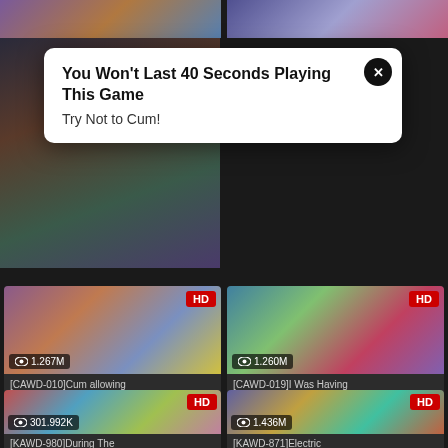[Figure (screenshot): Top strip showing two thumbnail images from adult video website]
[Figure (screenshot): Advertisement overlay popup: 'You Won't Last 40 Seconds Playing This Game - Try Not to Cum!' with close button]
[Figure (screenshot): Thumbnail: [CAWD-010]Cum allowing - HD badge, 1.267M views]
[Figure (screenshot): Thumbnail: [CAWD-019]I Was Having - HD badge, 1.260M views]
[Figure (screenshot): Thumbnail: [KAWD-980]During The - HD badge, 301.992K views]
[Figure (screenshot): Thumbnail: [KAWD-871]Electric - HD badge, 1.436M views]